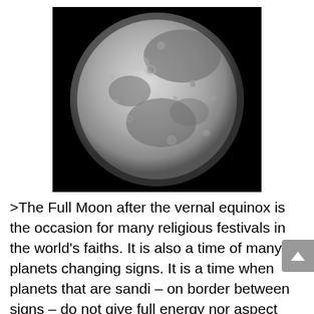[Figure (photo): Black and white photograph of the Full Moon showing craters and surface detail against a black background]
>The Full Moon after the vernal equinox is the occasion for many religious festivals in the world's faiths. It is also a time of many planets changing signs. It is a time when planets that are sandi – on border between signs – do not give full energy nor aspect